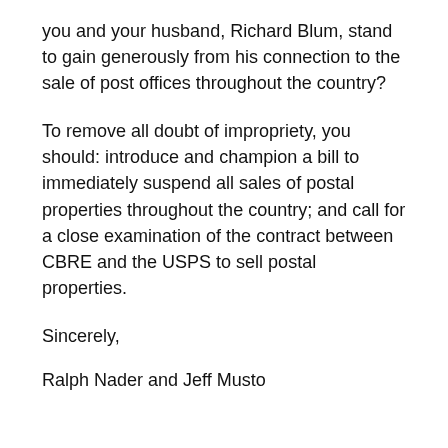you and your husband, Richard Blum, stand to gain generously from his connection to the sale of post offices throughout the country?
To remove all doubt of impropriety, you should: introduce and champion a bill to immediately suspend all sales of postal properties throughout the country; and call for a close examination of the contract between CBRE and the USPS to sell postal properties.
Sincerely,
Ralph Nader and Jeff Musto